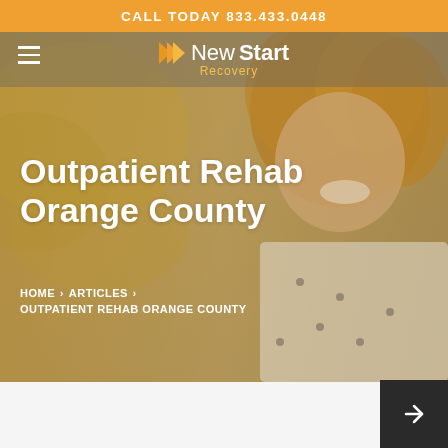CALL TODAY 833.433.0448
[Figure (screenshot): New Start Recovery website hero section showing a smiling man with curly hair against a warm golden outdoor background]
Outpatient Rehab Orange County
HOME > ARTICLES > OUTPATIENT REHAB ORANGE COUNTY